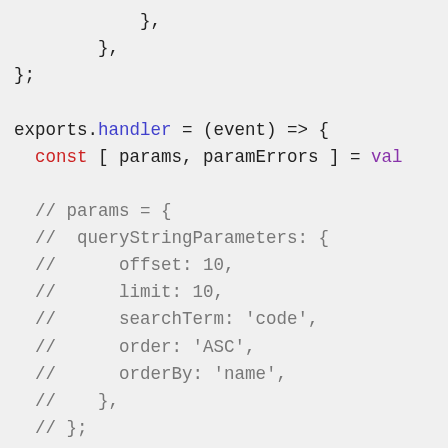},
        },
};

exports.handler = (event) => {
  const [ params, paramErrors ] = val

  // params = {
  //  queryStringParameters: {
  //      offset: 10,
  //      limit: 10,
  //      searchTerm: 'code',
  //      order: 'ASC',
  //      orderBy: 'name',
  //    },
  // };